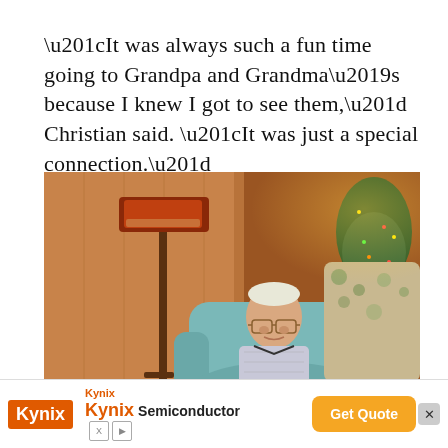“It was always such a fun time going to Grandpa and Grandma’s because I knew I got to see them,” Christian said. “It was just a special connection.”
[Figure (photo): An elderly man sitting in a light blue/teal recliner chair, wearing glasses and a patterned shirt. A floor lamp with a brown/red shade is visible on the left. A decorative floral-patterned couch and a Christmas tree with lights are visible in the background.]
[Figure (other): Advertisement banner for Kynix Semiconductor with orange Kynix logo, text 'Kynix Semiconductor', an orange 'Get Quote' button, and small X/D icons.]